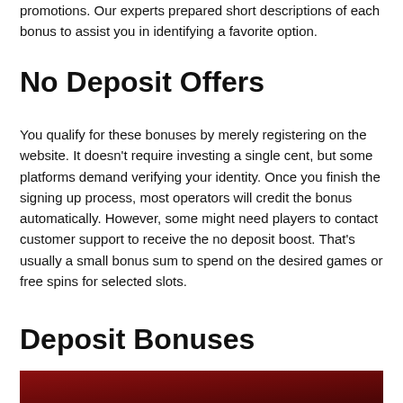promotions. Our experts prepared short descriptions of each bonus to assist you in identifying a favorite option.
No Deposit Offers
You qualify for these bonuses by merely registering on the website. It doesn't require investing a single cent, but some platforms demand verifying your identity. Once you finish the signing up process, most operators will credit the bonus automatically. However, some might need players to contact customer support to receive the no deposit boost. That's usually a small bonus sum to spend on the desired games or free spins for selected slots.
Deposit Bonuses
[Figure (photo): Dark red/maroon decorative image banner at the bottom of the page]